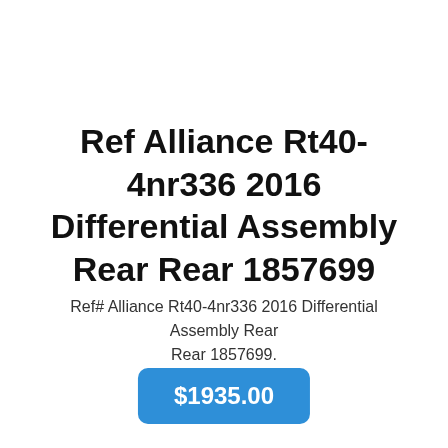Ref Alliance Rt40-4nr336 2016 Differential Assembly Rear Rear 1857699
Ref# Alliance Rt40-4nr336 2016 Differential Assembly Rear Rear 1857699.
$1935.00